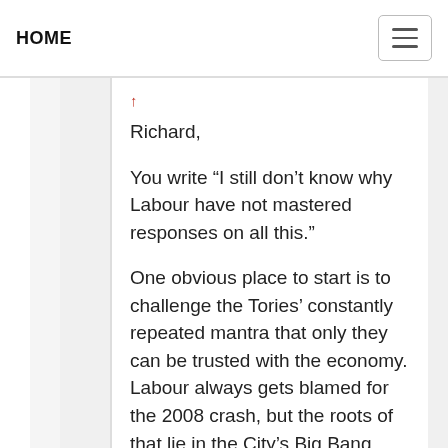HOME
Richard,
You write “I still don’t know why Labour have not mastered responses on all this.”
One obvious place to start is to challenge the Tories’ constantly repeated mantra that only they can be trusted with the economy. Labour always gets blamed for the 2008 crash, but the roots of that lie in the City’s Big Bang, which, somehow or other, rarely seems to be mentioned in any dialogue about the crash: but